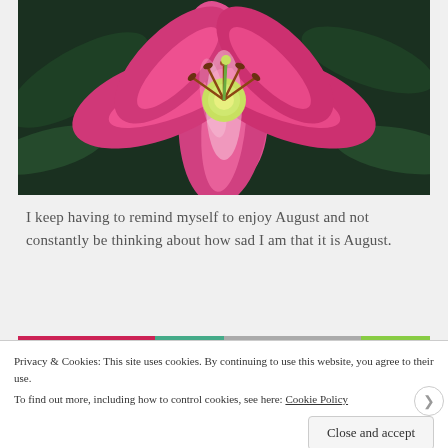[Figure (photo): Close-up photo of a pink lily flower with visible stamens and pistil in the center, against a dark green leafy background]
I keep having to remind myself to enjoy August and not constantly be thinking about how sad I am that it is August.
Privacy & Cookies: This site uses cookies. By continuing to use this website, you agree to their use. To find out more, including how to control cookies, see here: Cookie Policy